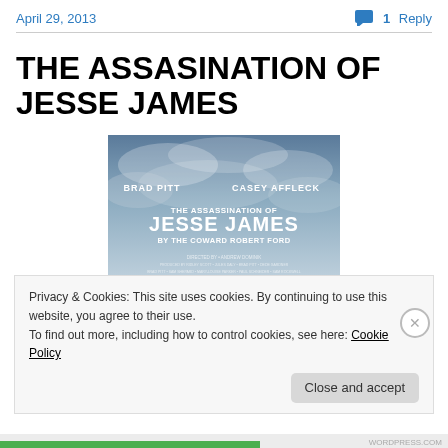April 29, 2013 · 1 Reply
THE ASSASINATION OF JESSE JAMES
[Figure (photo): Movie poster for The Assassination of Jesse James by the Coward Robert Ford, featuring Brad Pitt and Casey Affleck, with cloudy blue-grey sky background]
Privacy & Cookies: This site uses cookies. By continuing to use this website, you agree to their use.
To find out more, including how to control cookies, see here: Cookie Policy